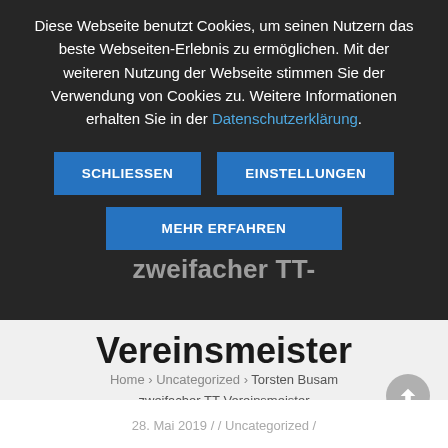Diese Webseite benutzt Cookies, um seinen Nutzern das beste Webseiten-Erlebnis zu ermöglichen. Mit der weiteren Nutzung der Webseite stimmen Sie der Verwendung von Cookies zu. Weitere Informationen erhalten Sie in der Datenschutzerklärung.
SCHLIESSEN | EINSTELLUNGEN | MEHR ERFAHREN
Vereinsmeister
Home > Uncategorized > Torsten Busam zweifacher TT-Vereinsmeister
28. Mai 2019 / / Uncategorized /